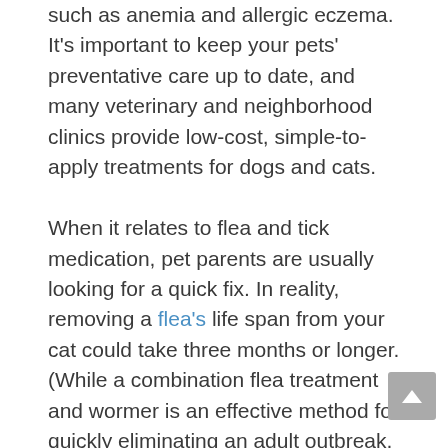such as anemia and allergic eczema. It's important to keep your pets' preventative care up to date, and many veterinary and neighborhood clinics provide low-cost, simple-to-apply treatments for dogs and cats.

When it relates to flea and tick medication, pet parents are usually looking for a quick fix. In reality, removing a flea's life span from your cat could take three months or longer. (While a combination flea treatment and wormer is an effective method for quickly eliminating an adult outbreak, it does not address the whole parasite life cycle.) Don't inflict harm on your pet because you're impatient. Allow your pet's medication to reach his or her...